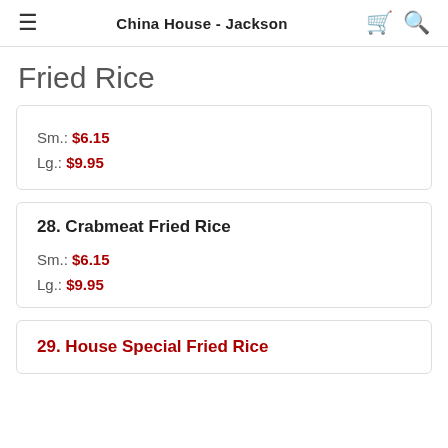China House - Jackson
Fried Rice
Sm.: $6.15  Lg.: $9.95
28. Crabmeat Fried Rice  Sm.: $6.15  Lg.: $9.95
29. House Special Fried Rice